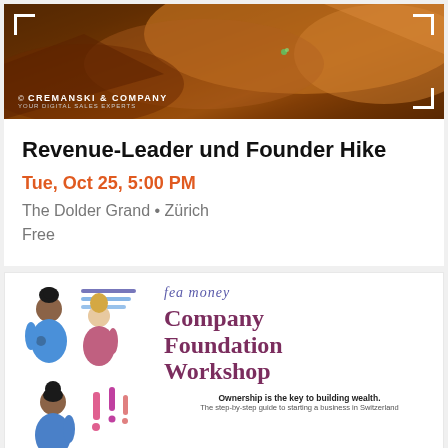[Figure (photo): Banner image with rocky orange/brown landscape background, Cremanski & Company logo in bottom-left with white corner brackets framing the image. Text 'Zürich' partially visible at top.]
Revenue-Leader und Founder Hike
Tue, Oct 25, 5:00 PM
The Dolder Grand • Zürich
Free
[Figure (illustration): Fea money Company Foundation Workshop promotional card. Left side shows illustrated women figures with speech bubbles and exclamation marks. Right side has 'fea money' in purple italic, 'Company Foundation Workshop' in large dark pink serif font, and text 'Ownership is the key to building wealth. The step-by-step guide to starting a business in Switzerland']